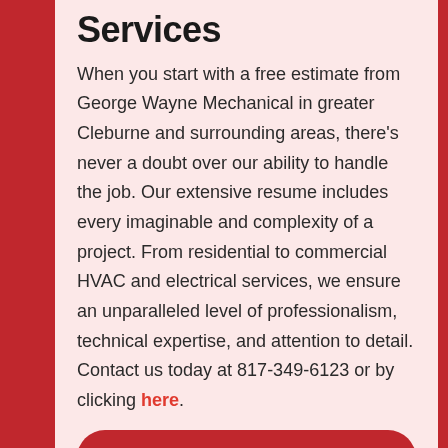Services
When you start with a free estimate from George Wayne Mechanical in greater Cleburne and surrounding areas, there's never a doubt over our ability to handle the job. Our extensive resume includes every imaginable and complexity of a project. From residential to commercial HVAC and electrical services, we ensure an unparalleled level of professionalism, technical expertise, and attention to detail. Contact us today at 817-349-6123 or by clicking here.
LEAVE A REVIEW >